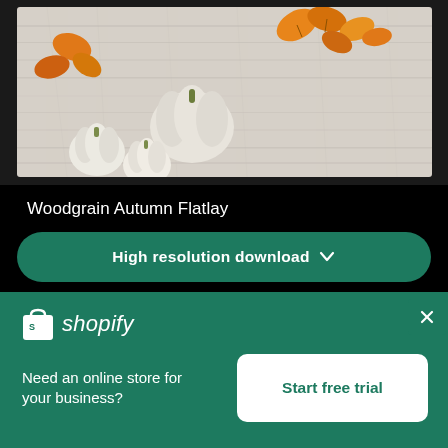[Figure (photo): Autumn flatlay photo with white pumpkins and orange/yellow fall leaves on a white wood grain background]
Woodgrain Autumn Flatlay
High resolution download ↓
[Figure (photo): Blurred photo with pink and dark elements, partially visible]
[Figure (logo): Shopify logo — shopping bag icon with 'shopify' wordmark in italic]
Need an online store for your business?
Start free trial